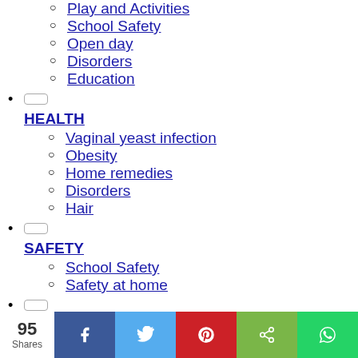Play and Activities
School Safety
Open day
Disorders
Education
HEALTH
Vaginal yeast infection
Obesity
Home remedies
Disorders
Hair
SAFETY
School Safety
Safety at home
FOOD
Appetite
Obesity
95 Shares